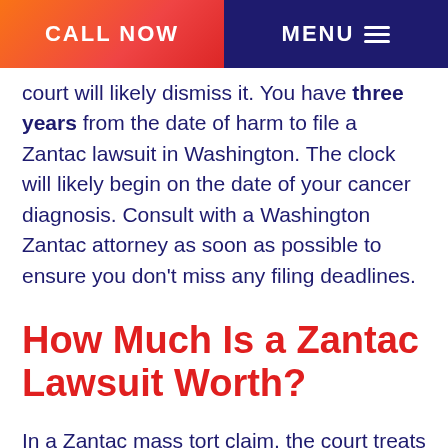CALL NOW | MENU
court will likely dismiss it. You have three years from the date of harm to file a Zantac lawsuit in Washington. The clock will likely begin on the date of your cancer diagnosis. Consult with a Washington Zantac attorney as soon as possible to ensure you don't miss any filing deadlines.
How Much Is a Zantac Lawsuit Worth?
In a Zantac mass tort claim, the court treats each plaintiff as an individual and awards